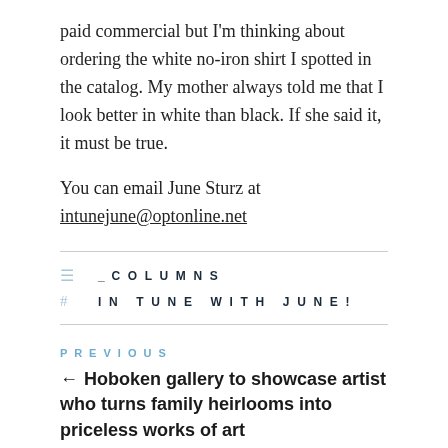paid commercial but I'm thinking about ordering the white no-iron shirt I spotted in the catalog. My mother always told me that I look better in white than black. If she said it, it must be true.
You can email June Sturz at intunejune@optonline.net
_COLUMNS
IN TUNE WITH JUNE!
PREVIOUS
← Hoboken gallery to showcase artist who turns family heirlooms into priceless works of art